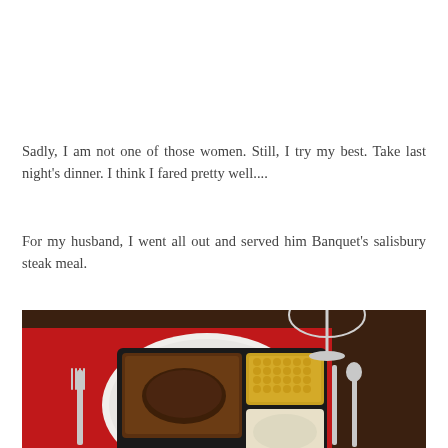Sadly, I am not one of those women. Still, I try my best. Take last night's dinner. I think I fared pretty well....
For my husband, I went all out and served him Banquet's salisbury steak meal.
[Figure (photo): Top-down photo of a TV dinner (Banquet salisbury steak meal) in a black tray with compartments containing salisbury steak with gravy, corn, and mashed potatoes, placed on a white plate atop a red placemat on a dark wood table, with a wine glass and silverware (fork, knife, spoon) visible.]